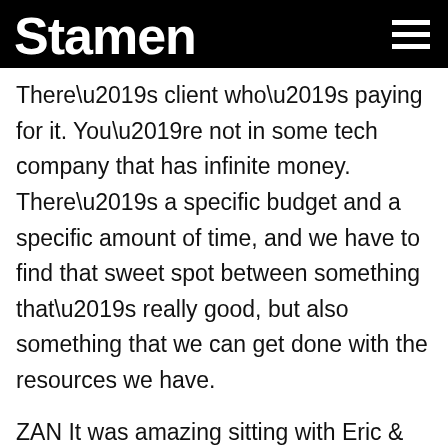Stamen
There’s client who’s paying for it. You’re not in some tech company that has infinite money. There’s a specific budget and a specific amount of time, and we have to find that sweet spot between something that’s really good, but also something that we can get done with the resources we have.
ZAN It was amazing sitting with Eric & Nicolette. I think calm was literally the second to last day on the project. We weren’t satisfied with it yet